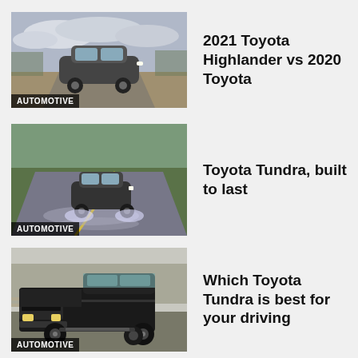[Figure (photo): A dark SUV driving on a gravel road with cloudy sky background, badge reading AUTOMOTIVE]
2021 Toyota Highlander vs 2020 Toyota
[Figure (photo): A black pickup truck driving on a wet curved road with green trees in background, badge reading AUTOMOTIVE]
Toyota Tundra, built to last
[Figure (photo): A large black truck (Ford F-series style) parked outdoors with bare trees in background, badge reading AUTOMOTIVE]
Which Toyota Tundra is best for your driving